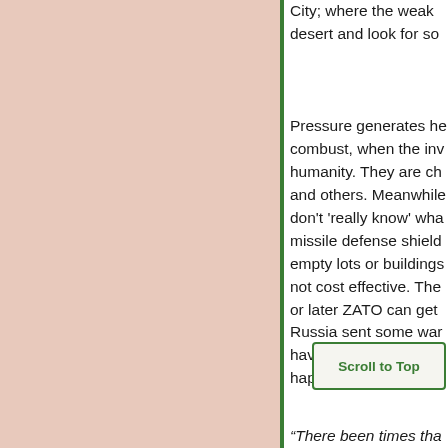City; where the weak desert and look for so
Pressure generates he combust, when the inv humanity. They are ch and others. Meanwhile don't 'really know' wha missile defense shield empty lots or buildings not cost effective. The or later ZATO can get Russia sent some war have a serious skull s happen; if I was even
“There been times tha